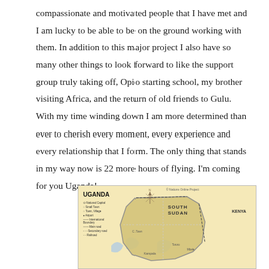compassionate and motivated people that I have met and I am lucky to be able to be on the ground working with them. In addition to this major project I also have so many other things to look forward to like the support group truly taking off, Opio starting school, my brother visiting Africa, and the return of old friends to Gulu. With my time winding down I am more determined than ever to cherish every moment, every experience and every relationship that I form. The only thing that stands in my way now is 22 more hours of flying. I'm coming for you Uganda!
[Figure (map): A map of Uganda showing surrounding countries including South Sudan and Kenya, with a legend, compass rose, and national boundary markings.]